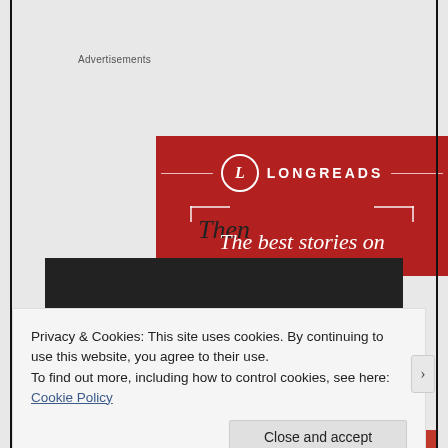Advertisements
[Figure (logo): Longreads advertisement banner in red with circular L logo, horizontal decorative lines, and tagline 'The best stories on']
Then
[Figure (photo): Dark/black rectangular banner image]
Privacy & Cookies: This site uses cookies. By continuing to use this website, you agree to their use.
To find out more, including how to control cookies, see here:
Cookie Policy
Close and accept